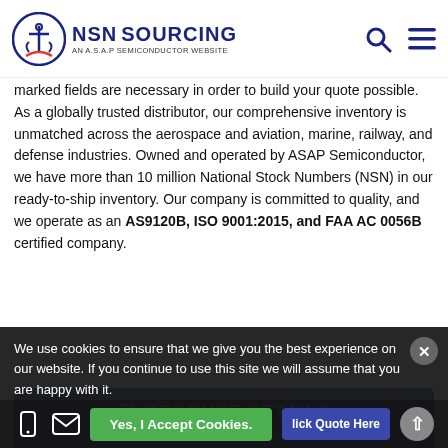[Figure (logo): NSN Sourcing logo — anchor icon in circle, 'NSN SOURCING' text in navy blue, 'AN A.S.A.P SEMICONDUCTOR WEBSITE' subtitle, search and hamburger menu icons on right]
marked fields are necessary in order to build your quote possible. As a globally trusted distributor, our comprehensive inventory is unmatched across the aerospace and aviation, marine, railway, and defense industries. Owned and operated by ASAP Semiconductor, we have more than 10 million National Stock Numbers (NSN) in our ready-to-ship inventory. Our company is committed to quality, and we operate as an AS9120B, ISO 9001:2015, and FAA AC 0056B certified company.
PRODUCT DETAILS
"*" Required fields are compulsory
Mfg Part Number *
We use cookies to ensure that we give you the best experience on our website. If you continue to use this site we will assume that you are happy with it.
Yes, I Accept Cookies.